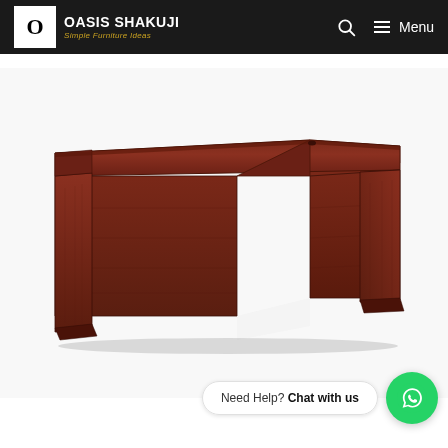OASIS SHAKUJI — Simple Furniture Ideas
[Figure (photo): L-shaped corner office desk in dark mahogany/cherry wood finish, photographed on white background. The desk has a panel leg design on both sides with an angled front edge creating a bow/curved front corner piece. The wood grain is visible with a reddish-brown finish.]
Need Help? Chat with us